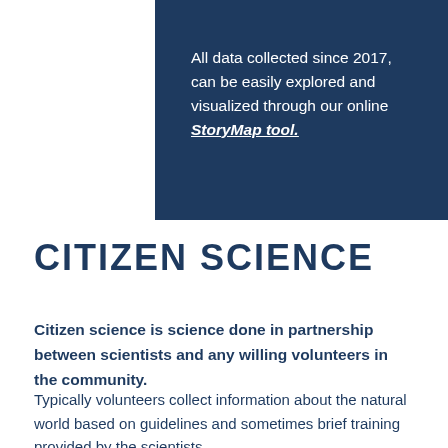All data collected since 2017, can be easily explored and visualized through our online StoryMap tool.
CITIZEN SCIENCE
Citizen science is science done in partnership between scientists and any willing volunteers in the community.
Typically volunteers collect information about the natural world based on guidelines and sometimes brief training provided by the scientists